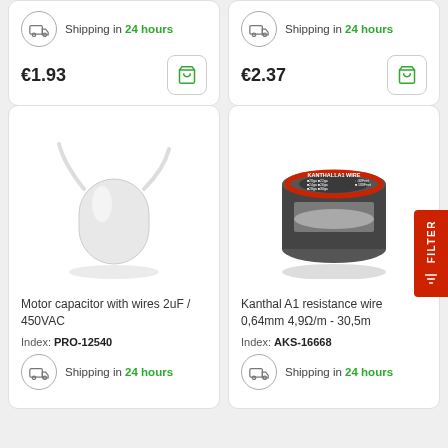Shipping in 24 hours
€1.93
Shipping in 24 hours
€2.37
[Figure (photo): Motor capacitor with wires, white cylindrical component]
Motor capacitor with wires 2uF / 450VAC
Index: PRO-12540
Shipping in 24 hours
[Figure (photo): Kanthal A1 resistance wire spool, dark circular spool with red ring]
Kanthal A1 resistance wire 0,64mm 4,9Ω/m - 30,5m
Index: AKS-16668
Shipping in 24 hours